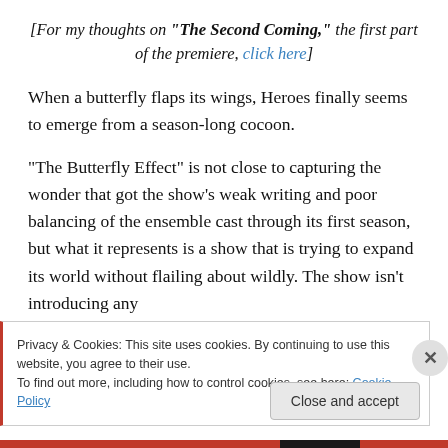[For my thoughts on "The Second Coming," the first part of the premiere, click here]
When a butterfly flaps its wings, Heroes finally seems to emerge from a season-long cocoon.
“The Butterfly Effect” is not close to capturing the wonder that got the show’s weak writing and poor balancing of the ensemble cast through its first season, but what it represents is a show that is trying to expand its world without flailing about wildly. The show isn’t introducing any
Privacy & Cookies: This site uses cookies. By continuing to use this website, you agree to their use.
To find out more, including how to control cookies, see here: Cookie Policy